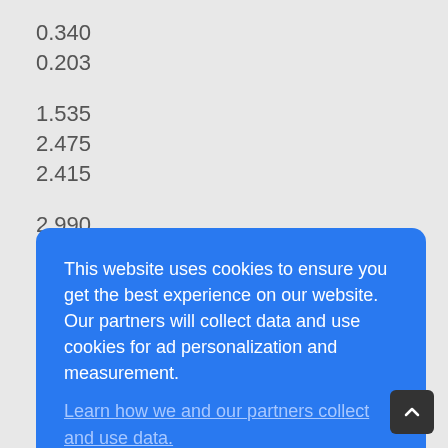0.340
0.203
1.535
2.475
2.415
2.990
This website uses cookies to ensure you get the best experience on our website. Our partners will collect data and use cookies for ad personalization and measurement.
Learn how we and our partners collect and use data.
OK
1.955